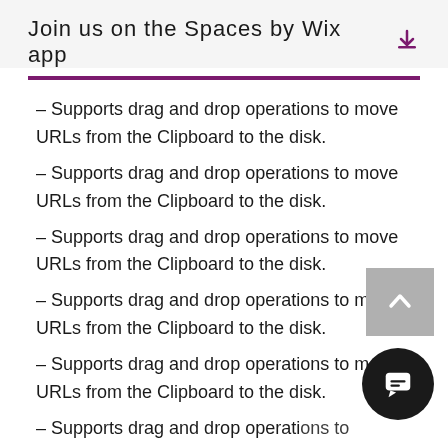Join us on the Spaces by Wix app
– Supports drag and drop operations to move URLs from the Clipboard to the disk.
– Supports drag and drop operations to move URLs from the Clipboard to the disk.
– Supports drag and drop operations to move URLs from the Clipboard to the disk.
– Supports drag and drop operations to move URLs from the Clipboard to the disk.
– Supports drag and drop operations to move URLs from the Clipboard to the disk.
– Supports drag and drop operations to move URLs from the Clipboard to the